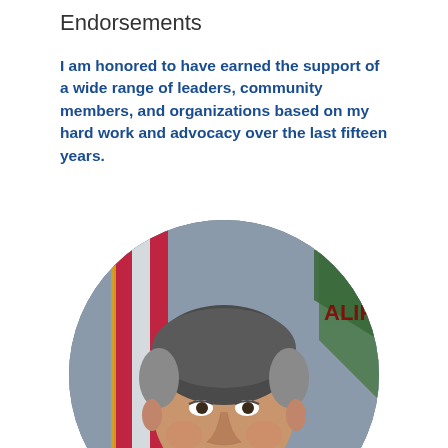Endorsements
I am honored to have earned the support of a wide range of leaders, community members, and organizations based on my hard work and advocacy over the last fifteen years.
[Figure (photo): Circular cropped headshot of an Asian-American man in a suit, smiling, with American flag and California state flag in background]